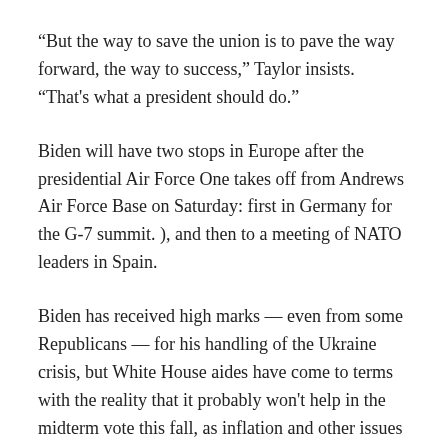“But the way to save the union is to pave the way forward, the way to success,” Taylor insists. “That’s what a president should do.”
Biden will have two stops in Europe after the presidential Air Force One takes off from Andrews Air Force Base on Saturday: first in Germany for the G-7 summit. ), and then to a meeting of NATO leaders in Spain.
Biden has received high marks — even from some Republicans — for his handling of the Ukraine crisis, but White House aides have come to terms with the reality that it probably won't help in the midterm vote this fall, as inflation and other issues are likely to prevail.